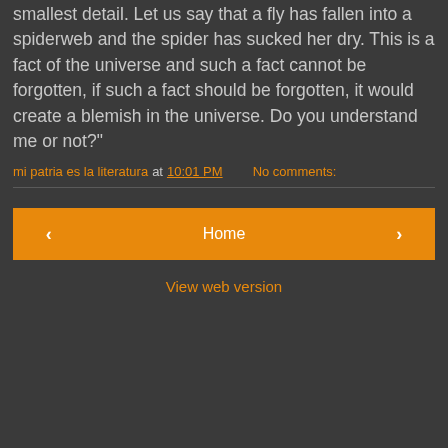smallest detail. Let us say that a fly has fallen into a spiderweb and the spider has sucked her dry. This is a fact of the universe and such a fact cannot be forgotten, if such a fact should be forgotten, it would create a blemish in the universe. Do you understand me or not?"
mi patria es la literatura at 10:01 PM   No comments:
Home
View web version